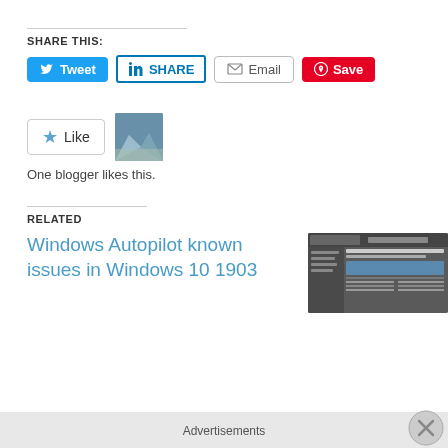SHARE THIS:
[Figure (screenshot): Social share buttons: Tweet (Twitter/blue), SHARE (LinkedIn/blue outlined), Email (gray outlined), Save (Pinterest/red)]
[Figure (screenshot): Like button with star icon and a blogger avatar thumbnail. Text: One blogger likes this.]
One blogger likes this.
RELATED
Windows Autopilot known issues in Windows 10 1903
[Figure (screenshot): Thumbnail screenshot of a Windows Autopilot page]
Advertisements